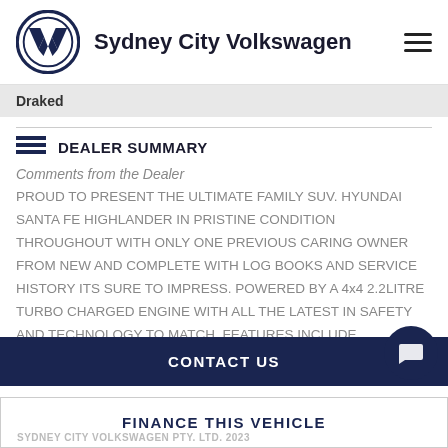[Figure (logo): Sydney City Volkswagen logo with VW circular emblem and text]
Draked
DEALER SUMMARY
Comments from the Dealer
PROUD TO PRESENT THE ULTIMATE FAMILY SUV. HYUNDAI SANTA FE HIGHLANDER IN PRISTINE CONDITION THROUGHOUT WITH ONLY ONE PREVIOUS CARING OWNER FROM NEW AND COMPLETE WITH LOG BOOKS AND SERVICE HISTORY ITS SURE TO IMPRESS. POWERED BY A 4x4 2.2LITRE TURBO CHARGED ENGINE WITH ALL THE LATEST IN SAFETY AND TECHNOLOGY TO MATCH. FEATURES INCLUDE -PASSIVE ENTRY
CONTACT US
FINANCE THIS VEHICLE